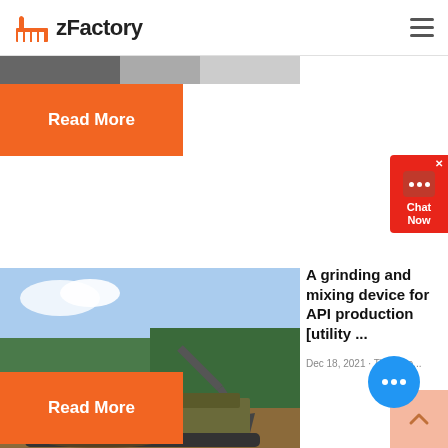zFactory
[Figure (screenshot): Partial banner image at top of page, showing a blurred/cropped scene]
Read More
[Figure (other): Chat Now widget with speech bubble icon and X close button, red background]
[Figure (photo): Construction/mining machine (excavator and crusher) in an outdoor woodland setting]
A grinding and mixing device for API production [utility ...
Dec 18, 2021 · The pate...
[Figure (other): Blue circular chat button with ellipsis dots]
Read More
[Figure (other): Scroll-to-top button with upward chevron arrow, light orange background]